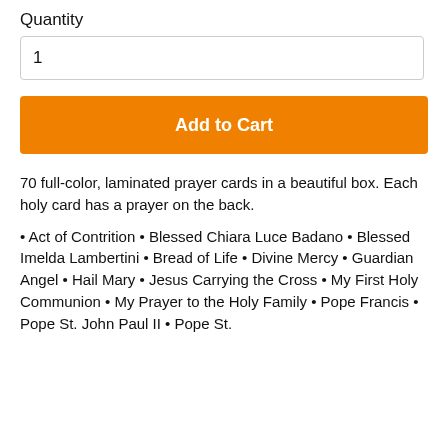Quantity
1
Add to Cart
70 full-color, laminated prayer cards in a beautiful box. Each holy card has a prayer on the back.
• Act of Contrition • Blessed Chiara Luce Badano • Blessed Imelda Lambertini • Bread of Life • Divine Mercy • Guardian Angel • Hail Mary • Jesus Carrying the Cross • My First Holy Communion • My Prayer to the Holy Family • Pope Francis • Pope St. John Paul II • Pope St.